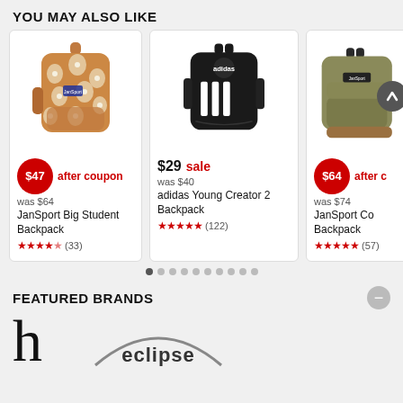YOU MAY ALSO LIKE
[Figure (photo): JanSport Big Student Backpack - floral print orange/rust with white flowers, product photo on white background]
[Figure (photo): Adidas Young Creator 2 Backpack - black with white three stripes, product photo on white background]
[Figure (photo): JanSport Core Backpack - olive/tan color, partially cropped, product photo with scroll-to-top button overlay]
$47 after coupon
was $64
JanSport Big Student Backpack
★★★★½ (33)
$29 sale
was $40
adidas Young Creator 2 Backpack
★★★★★ (122)
$64 after coupon
was $74
JanSport Core Backpack
★★★★★ (57)
FEATURED BRANDS
[Figure (logo): Lowercase letter 'h' in large serif font - brand logo]
[Figure (logo): Eclipse brand logo - partial arc/circle text]